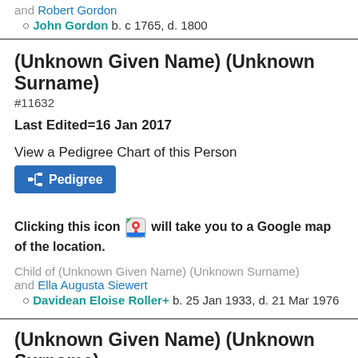and Robert Gordon
John Gordon b. c 1765, d. 1800
(Unknown Given Name) (Unknown Surname)
#11632
Last Edited=16 Jan 2017
View a Pedigree Chart of this Person
Pedigree
Clicking this icon [Google Maps icon] will take you to a Google map of the location.
Child of (Unknown Given Name) (Unknown Surname) and Ella Augusta Siewert
Davidean Eloise Roller+ b. 25 Jan 1933, d. 21 Mar 1976
(Unknown Given Name) (Unknown Surname)